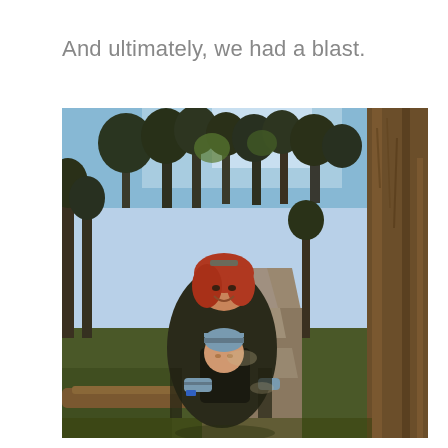And ultimately, we had a blast.
[Figure (photo): A smiling woman with red hair and sunglasses on her head, wearing a dark puffer jacket, carrying a baby in a front carrier on a forested hiking trail. Large pine trees surround the path, with sunlight filtering through the canopy.]